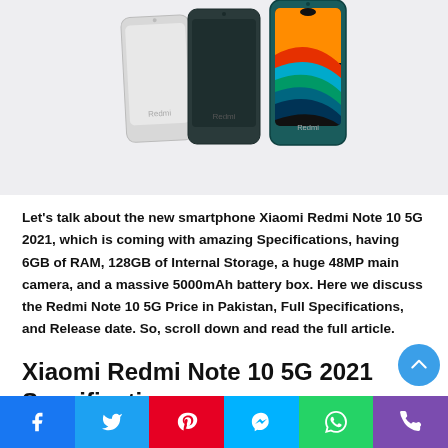[Figure (photo): Three Xiaomi Redmi smartphones (white, dark teal, teal with screen showing colorful wallpaper) displayed side by side against a light grey background.]
Let's talk about the new smartphone Xiaomi Redmi Note 10 5G 2021, which is coming with amazing Specifications, having 6GB of RAM, 128GB of Internal Storage, a huge 48MP main camera, and a massive 5000mAh battery box. Here we discuss the Redmi Note 10 5G Price in Pakistan, Full Specifications, and Release date. So, scroll down and read the full article.
Xiaomi Redmi Note 10 5G 2021 Specifications